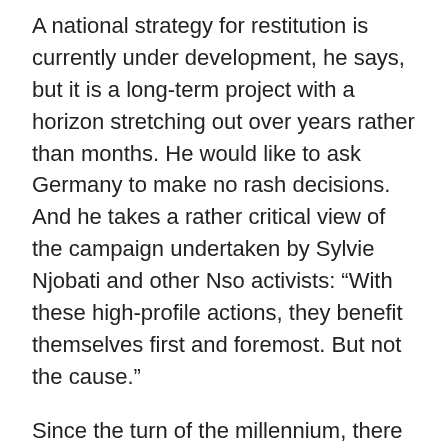A national strategy for restitution is currently under development, he says, but it is a long-term project with a horizon stretching out over years rather than months. He would like to ask Germany to make no rash decisions. And he takes a rather critical view of the campaign undertaken by Sylvie Njobati and other Nso activists: “With these high-profile actions, they benefit themselves first and foremost. But not the cause.”
Since the turn of the millennium, there have been numerous attempts by the Nso to get Ngonnso back, but none of them made much progress. In 2008, the request even apparently reached then-German President Horst Köhler, who, according to the ethnologist Spletstösser, “promised to look into the issue,” and who, King Sehm Mbinglo I. told me, “consented to a return” – but he then stepped down from his office in 2010 before action was taken. His successor as German president, Christian